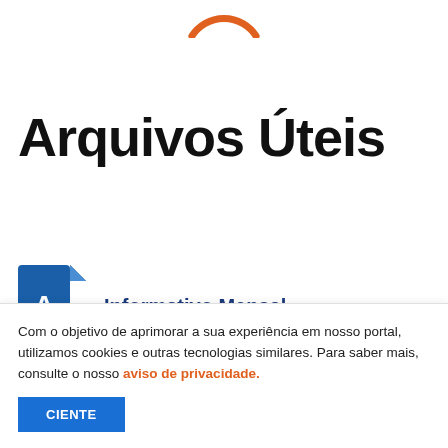[Figure (illustration): Orange arc/circle icon at top center, partially cropped]
Arquivos Úteis
[Figure (illustration): Blue PDF file icon with Adobe Acrobat symbol]
Informativo Mensal
[Figure (illustration): Second blue file icon, partially visible at bottom]
Com o objetivo de aprimorar a sua experiência em nosso portal, utilizamos cookies e outras tecnologias similares. Para saber mais, consulte o nosso aviso de privacidade.
CIENTE